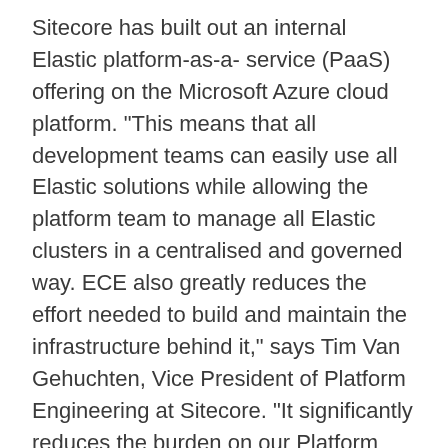Sitecore has built out an internal Elastic platform-as-a- service (PaaS) offering on the Microsoft Azure cloud platform. "This means that all development teams can easily use all Elastic solutions while allowing the platform team to manage all Elastic clusters in a centralised and governed way. ECE also greatly reduces the effort needed to build and maintain the infrastructure behind it," says Tim Van Gehuchten, Vice President of Platform Engineering at Sitecore. "It significantly reduces the burden on our Platform team, saving time and reducing costs," he adds.
The partnership is also beneficial to Microsoft. Chris Longo, Senior Partner Development